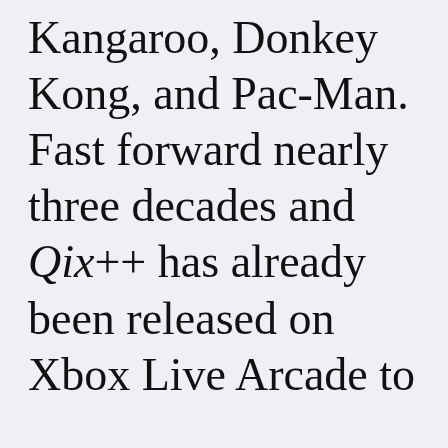Kangaroo, Donkey Kong, and Pac-Man. Fast forward nearly three decades and Qix++ has already been released on Xbox Live Arcade to